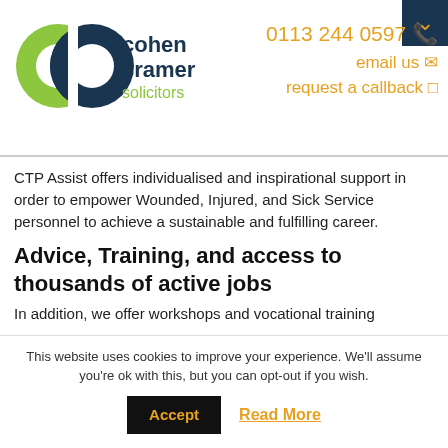[Figure (logo): Cohen Cramer Solicitors logo — two interlocking C shapes in lime green and dark navy, with 'cohen cramer solicitors' text in navy and green]
0113 244 0597 ☎
email us ✉
request a callback ☐
CTP Assist offers individualised and inspirational support in order to empower Wounded, Injured, and Sick Service personnel to achieve a sustainable and fulfilling career.
Advice, Training, and access to thousands of active jobs
In addition, we offer workshops and vocational training
This website uses cookies to improve your experience. We'll assume you're ok with this, but you can opt-out if you wish.